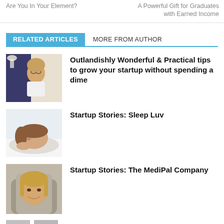Are You In Your Element?  |  A Powerful Gift for Graduates with Earned Income
RELATED ARTICLES   MORE FROM AUTHOR
[Figure (photo): Woman with glasses sitting at desk]
Outlandishly Wonderful & Practical tips to grow your startup without spending a dime
[Figure (photo): Person sleeping on pillow]
Startup Stories: Sleep Luv
[Figure (photo): Young woman smiling, close up portrait]
Startup Stories: The MediPal Company